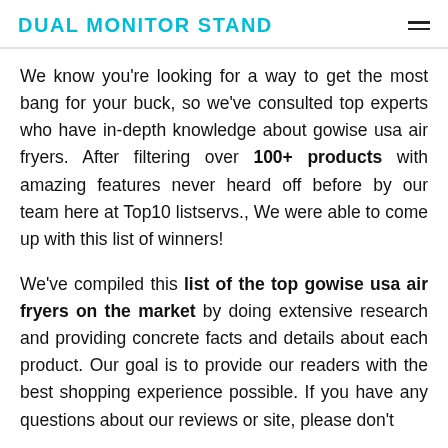DUAL MONITOR STAND
We know you're looking for a way to get the most bang for your buck, so we've consulted top experts who have in-depth knowledge about gowise usa air fryers. After filtering over 100+ products with amazing features never heard off before by our team here at Top10 listservs., We were able to come up with this list of winners!
We've compiled this list of the top gowise usa air fryers on the market by doing extensive research and providing concrete facts and details about each product. Our goal is to provide our readers with the best shopping experience possible. If you have any questions about our reviews or site, please don't